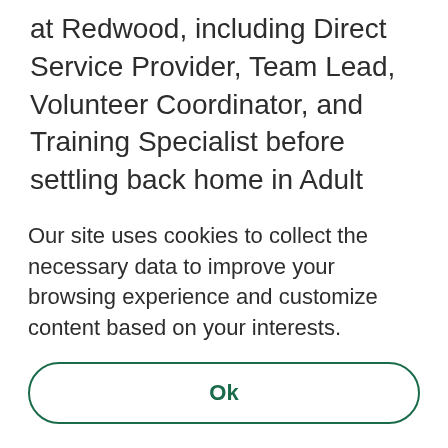at Redwood, including Direct Service Provider, Team Lead, Volunteer Coordinator, and Training Specialist before settling back home in Adult Day Services. Experiencing Redwood in this way has given her a unique perspective which she brings to her leadership style, vision for growth, and client care. Lisha holds a Bachelor of Arts degree in English Literature and a Bachelor of Fine Arts degree in Musical
Our site uses cookies to collect the necessary data to improve your browsing experience and customize content based on your interests.
Ok